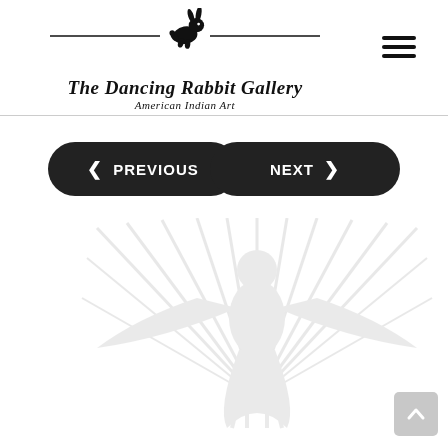[Figure (logo): The Dancing Rabbit Gallery logo with a jumping rabbit silhouette, horizontal lines, the text 'The Dancing Rabbit Gallery' in italic serif font, and 'American Indian Art' in italic script below]
[Figure (other): Hamburger menu icon — three horizontal black lines]
[Figure (other): PREVIOUS navigation button (dark rounded pill with left arrow)]
[Figure (other): NEXT navigation button (dark rounded pill with right arrow)]
[Figure (photo): Very light / faded watermark-style image of an eagle or bird figure with spread wings and radiating lines, nearly white on white background]
[Figure (other): Scroll-to-top button (grey rounded square with upward arrow)]